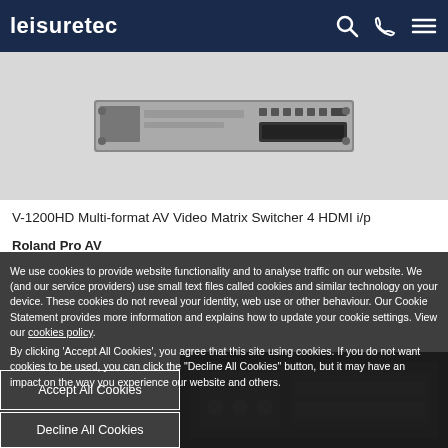leisuretec
[Figure (photo): Product image of V-1200HD Multi-format AV Video Matrix Switcher rack-mount device, grey/black hardware unit]
V-1200HD Multi-format AV Video Matrix Switcher 4 HDMI i/p
Roland Pro AV
We use cookies to provide website functionality and to analyse traffic on our website. We (and our service providers) use small text files called cookies and similar technology on your device. These cookies do not reveal your identity, web use or other behaviour. Our Cookie Statement provides more information and explains how to update your cookie settings. View our cookies policy.
By clicking 'Accept All Cookies', you agree that this site using cookies. If you do not want cookies to be used, you can click the "Decline All Cookies" button, but it may have an impact on the way you experience our website and others.
Accept All Cookies
Decline All Cookies